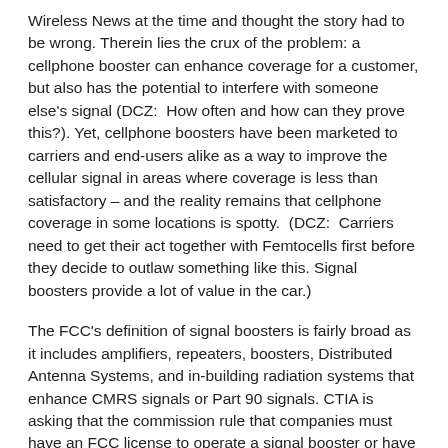Wireless News at the time and thought the story had to be wrong. Therein lies the crux of the problem: a cellphone booster can enhance coverage for a customer, but also has the potential to interfere with someone else's signal (DCZ: How often and how can they prove this?). Yet, cellphone boosters have been marketed to carriers and end-users alike as a way to improve the cellular signal in areas where coverage is less than satisfactory – and the reality remains that cellphone coverage in some locations is spotty. (DCZ: Carriers need to get their act together with Femtocells first before they decide to outlaw something like this. Signal boosters provide a lot of value in the car.)
The FCC's definition of signal boosters is fairly broad as it includes amplifiers, repeaters, boosters, Distributed Antenna Systems, and in-building radiation systems that enhance CMRS signals or Part 90 signals. CTIA is asking that the commission rule that companies must have an FCC license to operate a signal booster or have the consent from an FCC licensee (i.e., operator), and that the sale and marketing of devices to unauthorized parties (i.e., end-users or commercial building owners) is illegal.